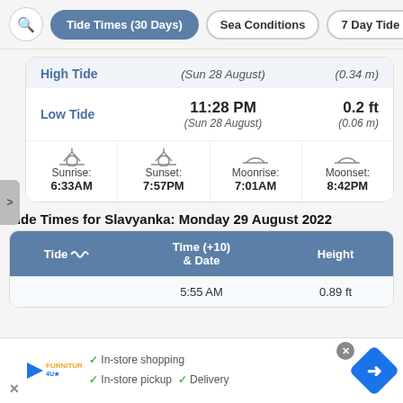Tide Times (30 Days) | Sea Conditions | 7 Day Tide Tab
|  |  |  |
| --- | --- | --- |
| High Tide | (Sun 28 August) | (0.34 m) |
| Low Tide | 11:28 PM
(Sun 28 August) | 0.2 ft
(0.06 m) |
| Sunrise | Sunset | Moonrise | Moonset |
| --- | --- | --- | --- |
| 6:33AM | 7:57PM | 7:01AM | 8:42PM |
Tide Times for Slavyanka: Monday 29 August 2022
| Tide | Time (+10)
& Date | Height |
| --- | --- | --- |
|  | 5:55 AM | 0.89 ft |